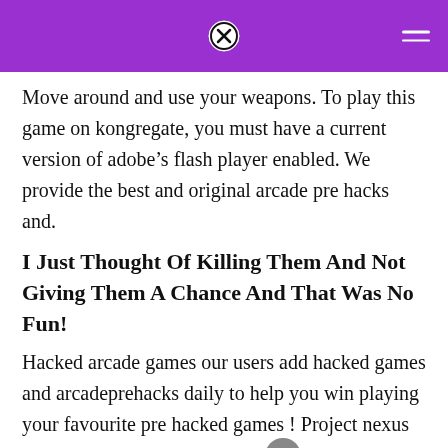Move around and use your weapons. To play this game on kongregate, you must have a current version of adobe’s flash player enabled. We provide the best and original arcade pre hacks and.
I Just Thought Of Killing Them And Not Giving Them A Chance And That Was No Fun!
Hacked arcade games our users add hacked games and arcadeprehacks daily to help you win playing your favourite pre hacked games ! Project nexus v1.8 by oneuser. Is mod ok not hacker im edit to cool.